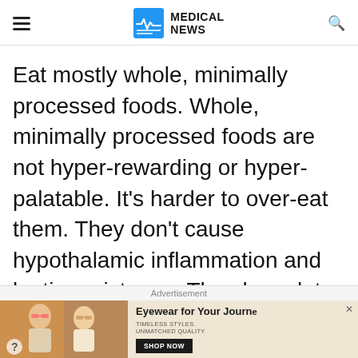Medical News
Eat mostly whole, minimally processed foods. Whole, minimally processed foods are not hyper-rewarding or hyper-palatable. It's harder to over-eat them. They don't cause hypothalamic inflammation and leptin resistance. They have lots of good stuff (vitamins, minerals, water, fiber, phytonutrients, disease-
[Figure (other): Advertisement banner: two women wearing sunglasses on the left side, with text 'Eyewear for Your Journey', 'TIMELESS STYLES. UNMATCHED QUALITY', and a 'SHOP NOW' button on the right side.]